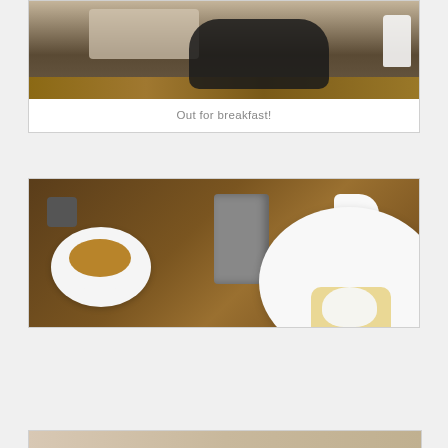[Figure (photo): Top portion of a restaurant/cafe scene showing a black leather bag on a wooden table with a blurred background, partially cropped]
Out for breakfast!
[Figure (photo): Overhead view of a cafe breakfast scene with a white cup of coffee with saucer, a French press coffee maker, a white cream jug, and a large white plate with food including what appears to be eggs and toast on a wooden table]
Privacy & Cookies: This site uses cookies. By continuing to use this website, you agree to their use.
To find out more, including how to control cookies, see here: Cookie Policy
Close and accept
[Figure (photo): Partial view of another breakfast photo at the bottom of the page, mostly cropped]